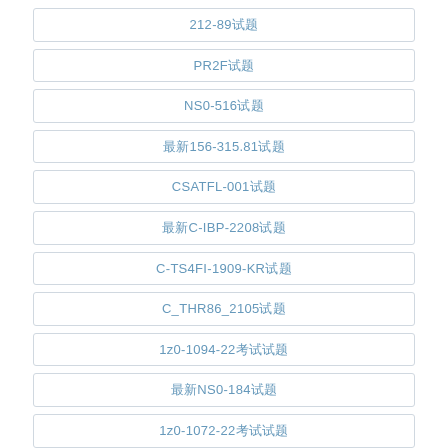212-89试题
PR2F试题
NS0-516试题
最新156-315.81试题
CSATFL-001试题
最新C-IBP-2208试题
C-TS4FI-1909-KR试题
C_THR86_2105试题
1z0-1094-22考试试题
最新NS0-184试题
1z0-1072-22考试试题